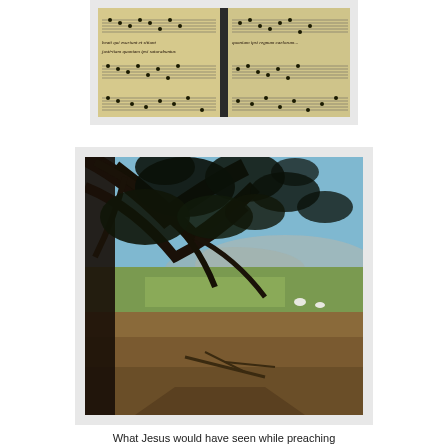[Figure (photo): Ancient manuscript open book showing Latin text and musical notation on yellowed pages, with a dark spine in the center]
[Figure (photo): Outdoor landscape photo showing tree branches with leaves in the foreground silhouetted against a blue sky, with green fields and low hills in the background; the scene depicts the Galilean landscape]
What Jesus would have seen while preaching